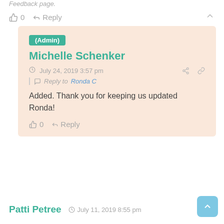👍 0   → Reply   ∧
(Admin)
Michelle Schenker
🕐 July 24, 2019 3:57 pm
Reply to Ronda C
Added. Thank you for keeping us updated Ronda!
👍 0   → Reply
Patti Petree   🕐 July 11, 2019 8:55 pm